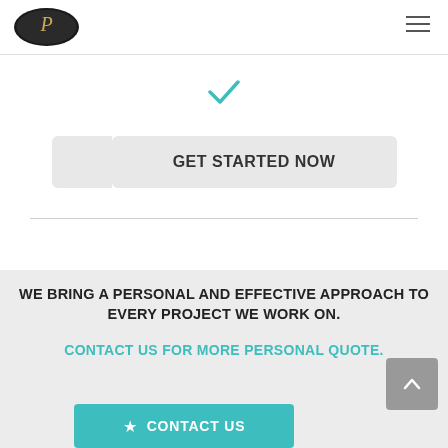P [logo] navigation header with hamburger menu
[Figure (illustration): Teal/turquoise checkmark icon centered on white background]
GET STARTED NOW
WE BRING A PERSONAL AND EFFECTIVE APPROACH TO EVERY PROJECT WE WORK ON.
CONTACT US FOR MORE PERSONAL QUOTE.
CONTACT US